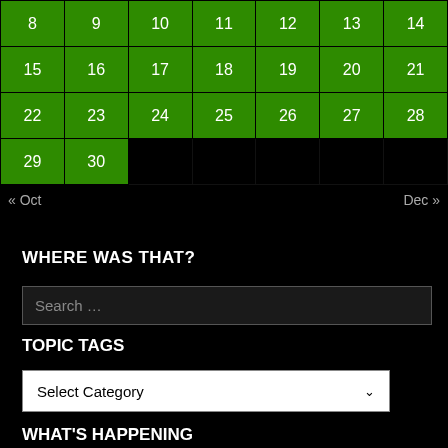| 8 | 9 | 10 | 11 | 12 | 13 | 14 |
| 15 | 16 | 17 | 18 | 19 | 20 | 21 |
| 22 | 23 | 24 | 25 | 26 | 27 | 28 |
| 29 | 30 |  |  |  |  |  |
« Oct    Dec »
WHERE WAS THAT?
Search …
TOPIC TAGS
Select Category
WHAT'S HAPPENING